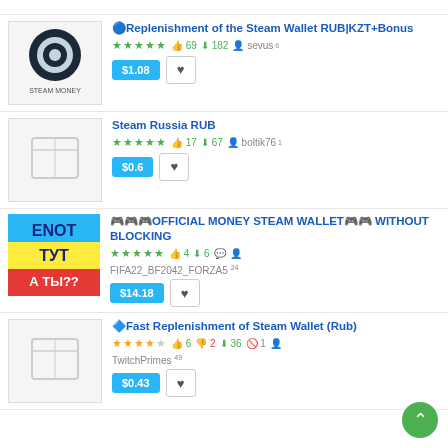🔵Replenishment of the Steam Wallet RUB|KZT+Bonus — ★★★★★ 👍69 ⬇182 sevus⁶ — $1.08
Steam Russia RUB — ★★★★★ 👍17 ⬇67 boltik76¹ — $0.6
🎮🎮🎮OFFICIAL MONEY STEAM WALLET🎮🎮 WITHOUT BLOCKING — ★★★★★ 👍4 ⬇6 FIFA22_BF2042_FORZA5²⁴ — $14.18
🔷Fast Replenishment of Steam Wallet (Rub) — ★★★★☆ 👍6 👎2 ⬇36 🚫1 TwitchPrimes⁴⁹ — $0.43